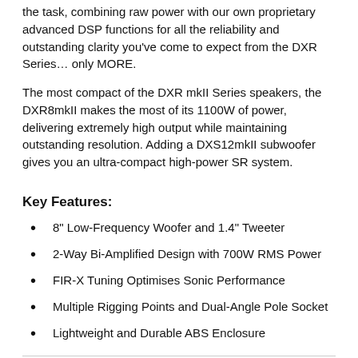the task, combining raw power with our own proprietary advanced DSP functions for all the reliability and outstanding clarity you've come to expect from the DXR Series… only MORE.
The most compact of the DXR mkII Series speakers, the DXR8mkII makes the most of its 1100W of power, delivering extremely high output while maintaining outstanding resolution. Adding a DXS12mkII subwoofer gives you an ultra-compact high-power SR system.
Key Features:
8" Low-Frequency Woofer and 1.4" Tweeter
2-Way Bi-Amplified Design with 700W RMS Power
FIR-X Tuning Optimises Sonic Performance
Multiple Rigging Points and Dual-Angle Pole Socket
Lightweight and Durable ABS Enclosure
More Information